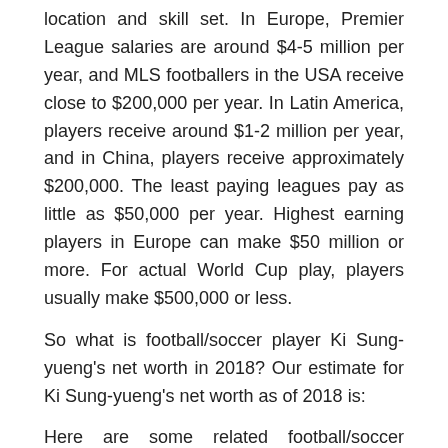location and skill set. In Europe, Premier League salaries are around $4-5 million per year, and MLS footballers in the USA receive close to $200,000 per year. In Latin America, players receive around $1-2 million per year, and in China, players receive approximately $200,000. The least paying leagues pay as little as $50,000 per year. Highest earning players in Europe can make $50 million or more. For actual World Cup play, players usually make $500,000 or less.
So what is football/soccer player Ki Sung-yueng's net worth in 2018? Our estimate for Ki Sung-yueng's net worth as of 2018 is:
Here are some related football/soccer players: Ben Smith, Dimitri Daeseleire, Alan Kusov, Arnold Kruiswijk, Marcin Robak, Felipe Sanchón, Guirane